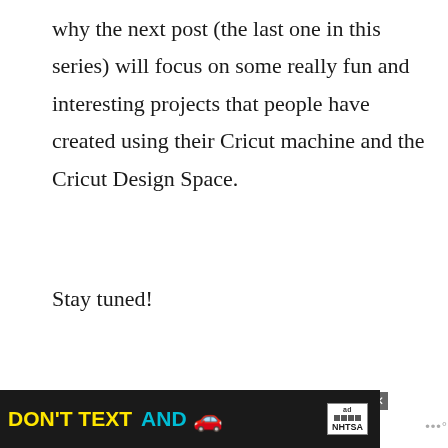why the next post (the last one in this series) will focus on some really fun and interesting projects that people have created using their Cricut machine and the Cricut Design Space.
Stay tuned!
[Figure (other): Advertisement banner: DON'T TEXT AND [car emoji] with ad label and NHTSA logo]